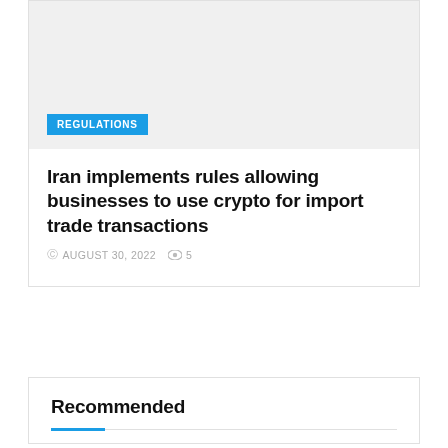[Figure (photo): Gray placeholder image area for article thumbnail with REGULATIONS category badge overlay]
Iran implements rules allowing businesses to use crypto for import trade transactions
AUGUST 30, 2022  5
Recommended